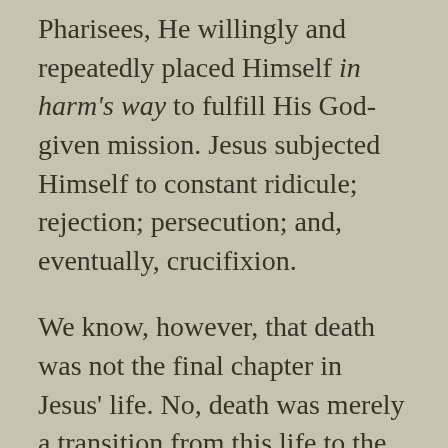Pharisees, He willingly and repeatedly placed Himself in harm's way to fulfill His God-given mission.  Jesus subjected Himself to constant ridicule; rejection; persecution; and, eventually, crucifixion.
We know, however, that death was not the final chapter in Jesus' life.  No, death was merely a transition from this life to the next.  Jesus rose up, on the third day, perfected.  In turn, He promises that His good and faithful servants will transition